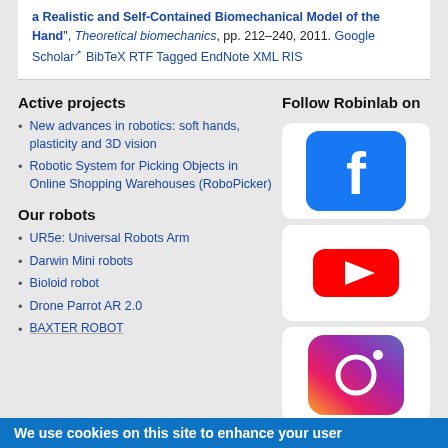a Realistic and Self-Contained Biomechanical Model of the Hand", Theoretical biomechanics, pp. 212–240, 2011. Google Scholar BibTeX RTF Tagged EndNote XML RIS
Active projects
Follow Robinlab on
New advances in robotics: soft hands, plasticity and 3D vision
Robotic System for Picking Objects in Online Shopping Warehouses (RoboPicker)
[Figure (logo): Facebook logo icon - blue rounded square with white 'f']
[Figure (logo): YouTube logo icon - white background with red play button rectangle]
[Figure (logo): Instagram logo icon - gradient pink/purple/orange rounded square with camera icon]
Our robots
UR5e: Universal Robots Arm
Darwin Mini robots
Bioloid robot
Drone Parrot AR 2.0
BAXTER ROBOT
We use cookies on this site to enhance your user